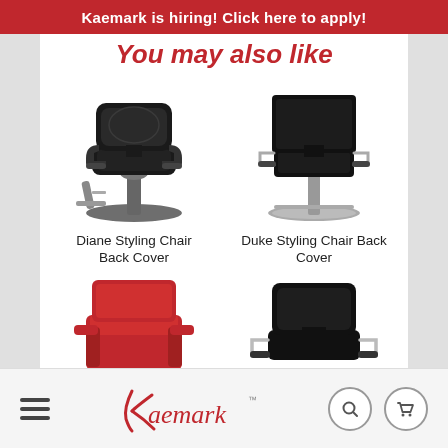Kaemark is hiring! Click here to apply!
You may also like
[Figure (photo): Black salon styling chair - Diane Styling Chair Back Cover]
Diane Styling Chair Back Cover
[Figure (photo): Black salon styling chair with silver base - Duke Styling Chair Back Cover]
Duke Styling Chair Back Cover
[Figure (photo): Red square styling chair - partially visible]
[Figure (photo): Black styling chair with silver arms - partially visible]
Kaemark logo with hamburger menu, search and cart icons